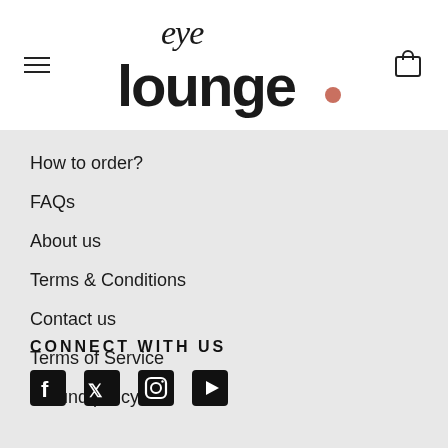[Figure (logo): Eye Lounge logo with stylized script 'eye' above bold 'lounge.' text with a salmon/coral colored period. Hamburger menu icon on left, shopping bag icon on right.]
How to order?
FAQs
About us
Terms & Conditions
Contact us
Terms of Service
Refund policy
CONNECT WITH US
[Figure (illustration): Social media icons: Facebook, Twitter, Instagram, YouTube]